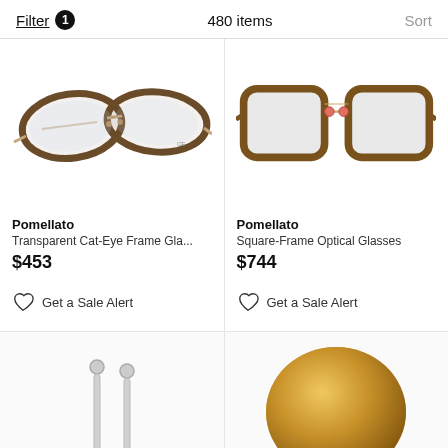Filter 1   480 items   Sort
[Figure (photo): Pomellato Transparent Cat-Eye Frame Glasses in tortoiseshell brown with gold accents]
Pomellato
Transparent Cat-Eye Frame Gla...
$453
Get a Sale Alert
[Figure (photo): Pomellato Square-Frame Optical Glasses in tortoiseshell with gold bridge]
Pomellato
Square-Frame Optical Glasses
$744
Get a Sale Alert
[Figure (photo): Silver drop earrings, partially visible at bottom left]
[Figure (photo): Gold dome ring, partially visible at bottom right]